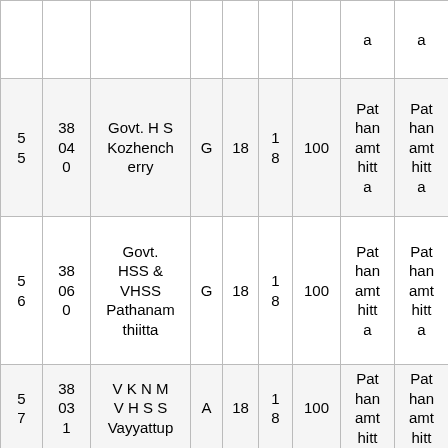|  |  |  |  |  |  |  | a | a |
| --- | --- | --- | --- | --- | --- | --- | --- | --- |
| 5 5 | 38 04 0 | Govt. H S Kozhencherry | G | 18 | 1 8 | 100 | Pathanamhitta | Pathanamhitta |
| 5 6 | 38 06 0 | Govt. HSS & VHSS Pathanamthiitta | G | 18 | 1 8 | 100 | Pathanamhitta | Pathanamhitta |
| 5 7 | 38 03 1 | V K N M V H S S Vayyattup | A | 18 | 1 8 | 100 | Pathanamhitt... | Pathanamhitt... |